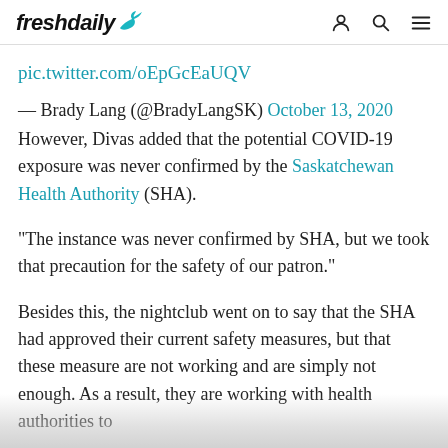freshdaily
pic.twitter.com/oEpGcEaUQV
— Brady Lang (@BradyLangSK) October 13, 2020
However, Divas added that the potential COVID-19 exposure was never confirmed by the Saskatchewan Health Authority (SHA).
"The instance was never confirmed by SHA, but we took that precaution for the safety of our patron."
Besides this, the nightclub went on to say that the SHA had approved their current safety measures, but that these measure are not working and are simply not enough. As a result, they are working with health authorities to